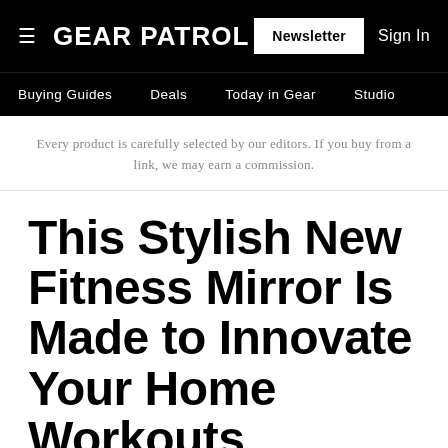GEAR PATROL | Newsletter | Sign In
Buying Guides | Deals | Today in Gear | Studio
Every product is carefully selected by our editors. If you buy from a link, we may earn a commission.
This Stylish New Fitness Mirror Is Made to Innovate Your Home Workouts
With industry-first technology, convenient membership services and decorative designs, Fiture makes a big entrance into the connected